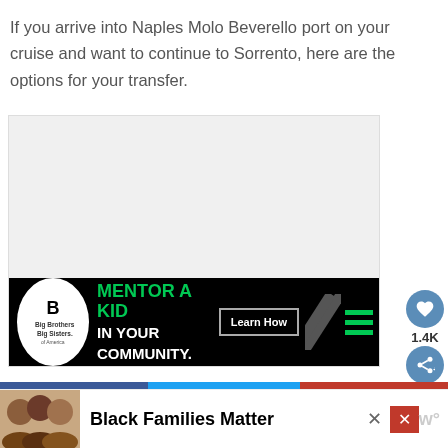If you arrive into Naples Molo Beverello port on your cruise and want to continue to Sorrento, here are the options for your transfer.
[Figure (screenshot): Advertisement area with a Big Brothers Big Sisters banner ad showing 'MENTOR A KID IN YOUR COMMUNITY.' with a Learn How button, overlaid on a light gray placeholder content area. Social sharing buttons (heart and share) visible on the right side.]
[Figure (screenshot): Bottom advertisement banner for 'Black Families Matter' showing a group photo of people on the left, with close buttons (X) and a logo 'w' on the right.]